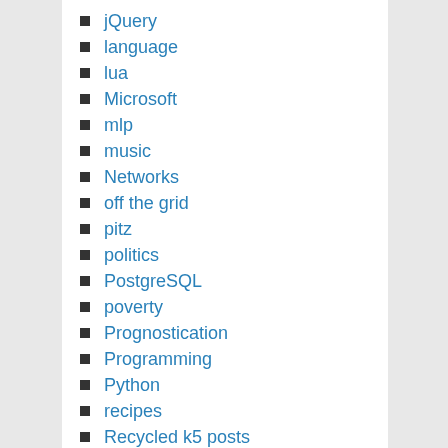jQuery
language
lua
Microsoft
mlp
music
Networks
off the grid
pitz
politics
PostgreSQL
poverty
Prognostication
Programming
Python
recipes
Recycled k5 posts
restaurants
Ruby
SAS
self-aggrandizement